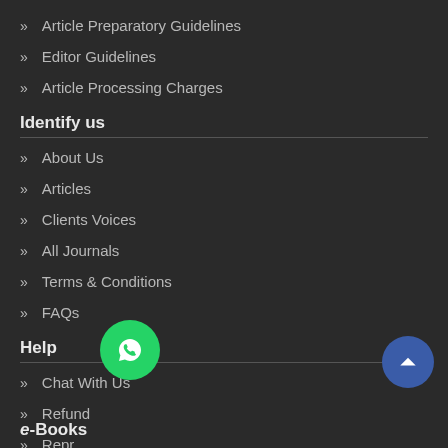Article Preparatory Guidelines
Editor Guidelines
Article Processing Charges
Identify us
About Us
Articles
Clients Voices
All Journals
Terms & Conditions
FAQs
Help
Chat With Us
Refund
Repr…
e-Books
[Figure (illustration): WhatsApp chat button (green circle with white phone/chat icon)]
[Figure (illustration): Scroll-to-top button (blue circle with white upward chevron)]